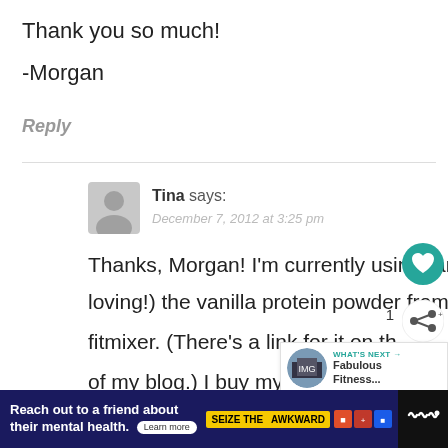Thank you so much!
-Morgan
Reply
Tina says:
December 7, 2012 at 3:25 pm
Thanks, Morgan! I'm currently using (and loving!) the vanilla protein powder from fitmixer. (There's a link for it on the of my blog.) I buy my almond butter from
[Figure (screenshot): Ad banner reading 'Reach out to a friend about their mental health. Learn more' with SEIZE THE AWKWARD branding]
[Figure (infographic): What's Next widget showing Fabulous Fitness...]